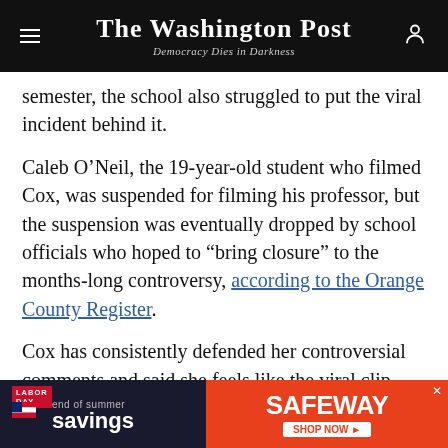The Washington Post — Democracy Dies in Darkness
semester, the school also struggled to put the viral incident behind it.
Caleb O’Neil, the 19-year-old student who filmed Cox, was suspended for filming his professor, but the suspension was eventually dropped by school officials who hoped to “bring closure” to the months-long controversy, according to the Orange County Register.
Cox has consistently defended her controversial comments and said she feels like the viral clip took her words out of context.
[Figure (other): Advertisement banner for Safeway Labor Day end of summer savings promotion]